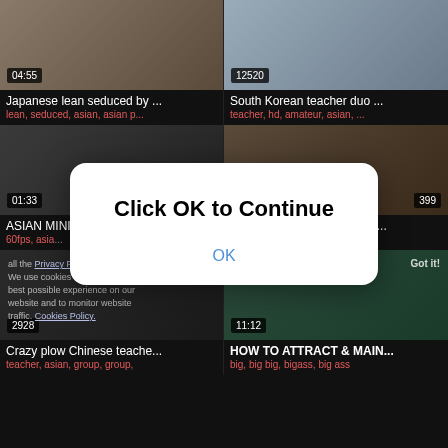[Figure (screenshot): Video thumbnail grid with 6 video cards in a 2-column layout. Over the grid is a modal dialog saying 'Click OK to Continue' with an OK button. Cookie policy text is overlaid on the lower cards.]
Japanese lean seduced by ...
lean, seduced, asian, asian p...
South Korean teacher duo ...
teacher, hd, amateur, asian, ...
ASIAN MINI CLIP - CHECK
60fps, asia...
Korean Schoolgirl drilled he...
wanese, ...
Crazy plow Chinese teache...
teacher, asian, group, group,
HOW TO ATTRACT & MAIN...
big, big big, bigass, big ass
Click OK to Continue
OK